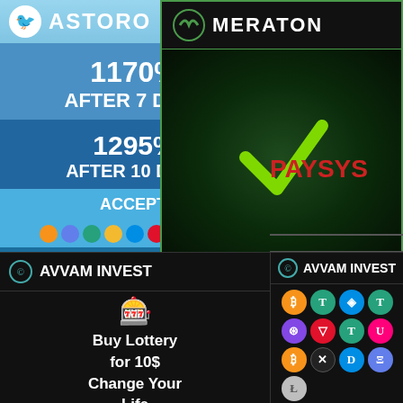[Figure (advertisement): ASTORO investment ad: 1170% AFTER 7 DAYS, 1295% AFTER 10 DAYS, ACCEPT: [crypto icons], AUTO PAYOUTS]
[Figure (advertisement): MERATON logo with green checkmark graphic on dark green background]
PAYSYS
Details  Vote Now  Payout
owexfinance.com
Our Inve
Payout
Last Pay
Lifetime
[Figure (advertisement): AVVAM INVEST - Buy Lottery for 10$ Change Your Life]
[Figure (advertisement): AVVAM INVEST with cryptocurrency coin grid: BTC, USDT, BNB, T, MATIC, RED, USDT, UNI, BTC, X, DASH, ETH, LTC]